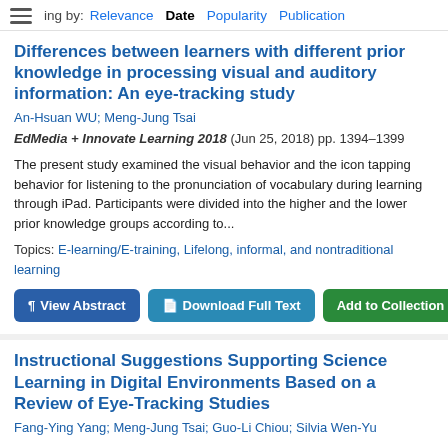Sort by: Relevance Date Popularity Publication
Differences between learners with different prior knowledge in processing visual and auditory information: An eye-tracking study
An-Hsuan WU; Meng-Jung Tsai
EdMedia + Innovate Learning 2018 (Jun 25, 2018) pp. 1394–1399
The present study examined the visual behavior and the icon tapping behavior for listening to the pronunciation of vocabulary during learning through iPad. Participants were divided into the higher and the lower prior knowledge groups according to...
Topics: E-learning/E-training, Lifelong, informal, and nontraditional learning
Instructional Suggestions Supporting Science Learning in Digital Environments Based on a Review of Eye-Tracking Studies
Fang-Ying Yang; Meng-Jung Tsai; Guo-Li Chiou; Silvia Wen-Yu